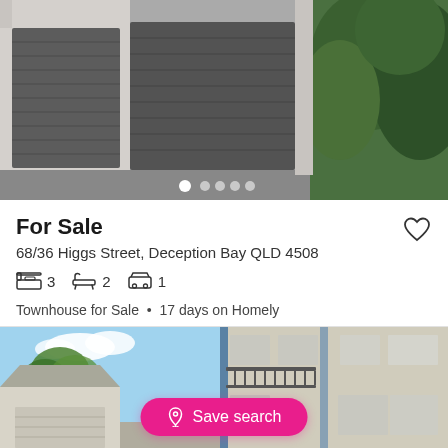[Figure (photo): Exterior photo of a townhouse showing double garage doors with grey/brown finish, white brick walls, and green hedge/trees on the right side. Image carousel dots visible at bottom.]
For Sale
68/36 Higgs Street, Deception Bay QLD 4508
3 bedrooms, 2 bathrooms, 1 car space
Townhouse for Sale  •  17 days on Homely
[Figure (photo): Exterior photo of a two-storey residential building. Left side shows a house with palm trees and blue sky. Right side shows a two-storey apartment/townhouse building with blue accent columns and a balcony with dark railing. A Save search button overlays the bottom centre.]